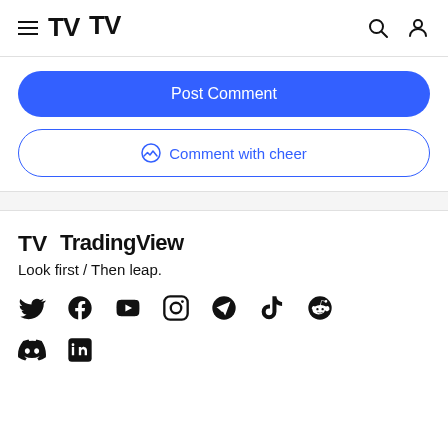TradingView header navigation
Post Comment
Comment with cheer
TradingView
Look first / Then leap.
[Figure (illustration): Social media icons row 1: Twitter, Facebook, YouTube, Instagram, Telegram, TikTok, Reddit]
[Figure (illustration): Social media icons row 2: Discord, LinkedIn]